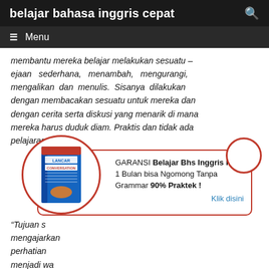belajar bahasa inggris cepat
≡  Menu
membantu mereka belajar melakukan sesuatu – ejaan sederhana, menambah, mengurangi, mengalikan dan menulis. Sisanya dilakukan dengan membacakan sesuatu untuk mereka dan dengan cerita serta diskusi yang menarik di mana mereka harus duduk diam. Praktis dan tidak ada pelajaran
[Figure (infographic): Advertisement banner with a book cover image (Lancar Conversation) in a red circle on the left, a small empty red circle on the top right, and ad text: GARANSI Belajar Bhs Inggris Kilat 1 Bulan bisa Ngomong Tanpa Grammar 90% Praktek! Klik disini]
“Tujuan s... mengajarkan... perhatian... menjadi wa...
Lihatlah ke luar jendela sebentar, maukah?”